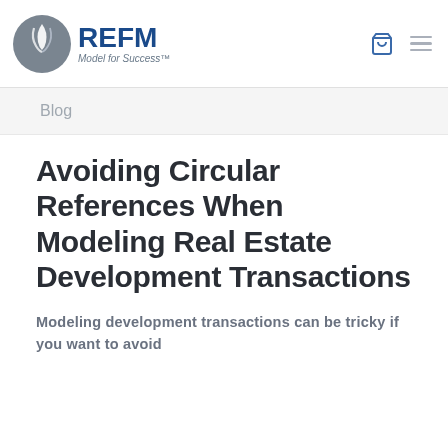REFM Model for Success
Blog
Avoiding Circular References When Modeling Real Estate Development Transactions
Modeling development transactions can be tricky if you want to avoid